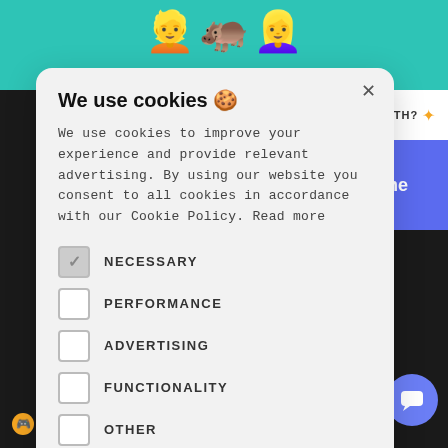[Figure (screenshot): Background screenshot of a website with teal header, emojis (man, hippo, woman), a right panel with blue button showing 'nline', and a dark bottom section with 'bobwibbles' username]
We use cookies 🍪
We use cookies to improve your experience and provide relevant advertising. By using our website you consent to all cookies in accordance with our Cookie Policy. Read more
NECESSARY (checked)
PERFORMANCE
ADVERTISING
FUNCTIONALITY
OTHER
ACCEPT ALL